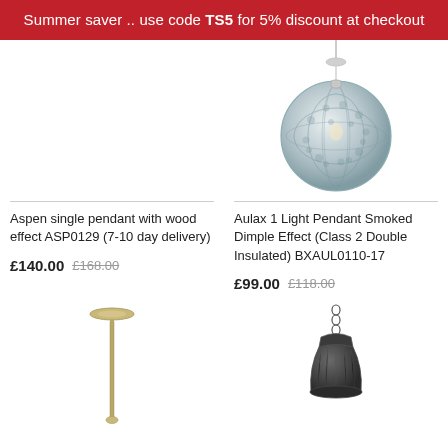Summer saver .. use code TS5 for 5% discount at checkout
[Figure (photo): Aulax 1 Light Pendant with smoked dimple effect glass globe shade hanging from a chrome wire]
Aspen single pendant with wood effect ASP0129 (7-10 day delivery)
£140.00  £168.00
Aulax 1 Light Pendant Smoked Dimple Effect (Class 2 Double Insulated) BXAUL0110-17
£99.00  £118.00
[Figure (photo): Tall slim antique brass single pendant lamp with long rod]
[Figure (photo): Dark grey/black pendant lamp with ridged bell-shaped shade on chain]